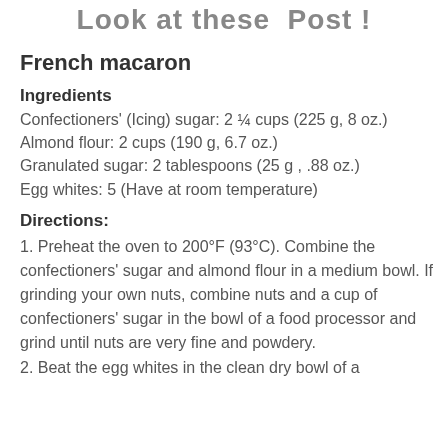Look at these  Post  !
French macaron
Ingredients
Confectioners' (Icing) sugar: 2 ¼ cups (225 g, 8 oz.)
Almond flour: 2 cups (190 g, 6.7 oz.)
Granulated sugar: 2 tablespoons (25 g , .88 oz.)
Egg whites: 5 (Have at room temperature)
Directions:
1. Preheat the oven to 200°F (93°C). Combine the confectioners' sugar and almond flour in a medium bowl. If grinding your own nuts, combine nuts and a cup of confectioners' sugar in the bowl of a food processor and grind until nuts are very fine and powdery.
2. Beat the egg whites in the clean dry bowl of a